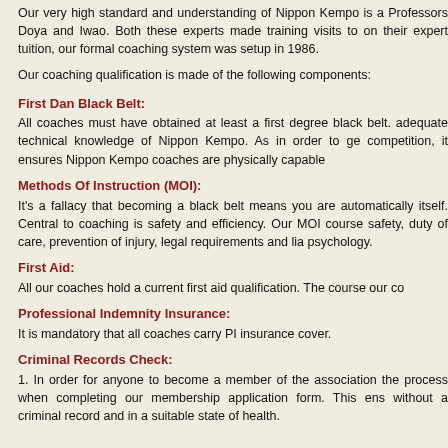Our very high standard and understanding of Nippon Kempo is a Professors Doya and Iwao. Both these experts made training visits to on their expert tuition, our formal coaching system was setup in 1986.
Our coaching qualification is made of the following components:
First Dan Black Belt:
All coaches must have obtained at least a first degree black belt. adequate technical knowledge of Nippon Kempo. As in order to ge competition, it ensures Nippon Kempo coaches are physically capable
Methods Of Instruction (MOI):
It's a fallacy that becoming a black belt means you are automatically itself. Central to coaching is safety and efficiency. Our MOI course safety, duty of care, prevention of injury, legal requirements and lia psychology.
First Aid:
All our coaches hold a current first aid qualification. The course our co
Professional Indemnity Insurance:
It is mandatory that all coaches carry PI insurance cover.
Criminal Records Check:
1. In order for anyone to become a member of the association the process when completing our membership application form. This ens without a criminal record and in a suitable state of health.